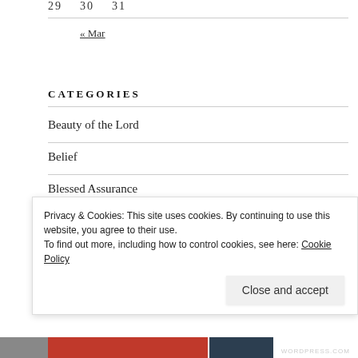29   30   31
« Mar
CATEGORIES
Beauty of the Lord
Belief
Blessed Assurance
Privacy & Cookies: This site uses cookies. By continuing to use this website, you agree to their use.
To find out more, including how to control cookies, see here: Cookie Policy
Close and accept